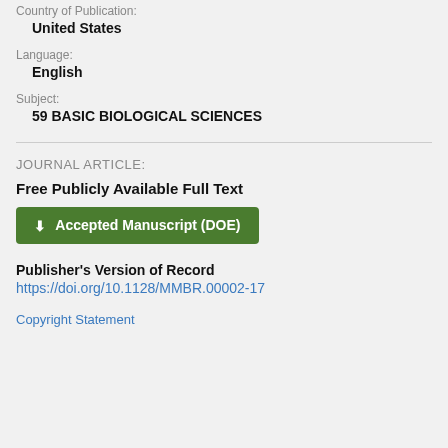Country of Publication:
United States
Language:
English
Subject:
59 BASIC BIOLOGICAL SCIENCES
JOURNAL ARTICLE:
Free Publicly Available Full Text
Accepted Manuscript (DOE)
Publisher's Version of Record
https://doi.org/10.1128/MMBR.00002-17
Copyright Statement